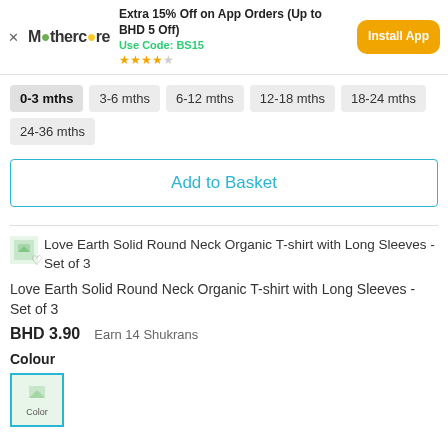Extra 15% Off on App Orders (Up to BHD 5 Off) Use Code: BS15 ★★★★☆ Install App
0-3 mths
3-6 mths
6-12 mths
12-18 mths
18-24 mths
24-36 mths
Add to Basket
Love Earth Solid Round Neck Organic T-shirt with Long Sleeves - Set of 3
Love Earth Solid Round Neck Organic T-shirt with Long Sleeves - Set of 3
BHD 3.90   Earn 14 Shukrans
Colour
[Figure (photo): Colour swatch thumbnail for Love Earth Solid Round Neck Organic T-shirt - labelled Color]